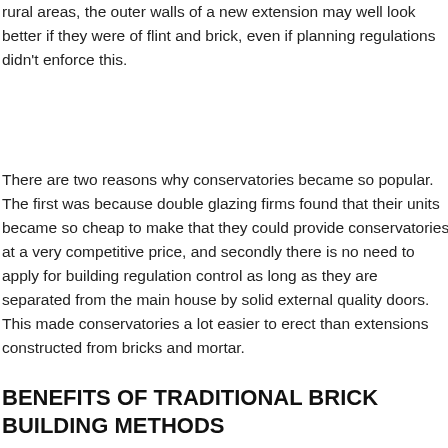rural areas, the outer walls of a new extension may well look better if they were of flint and brick, even if planning regulations didn't enforce this.
There are two reasons why conservatories became so popular. The first was because double glazing firms found that their units became so cheap to make that they could provide conservatories at a very competitive price, and secondly there is no need to apply for building regulation control as long as they are separated from the main house by solid external quality doors. This made conservatories a lot easier to erect than extensions constructed from bricks and mortar.
BENEFITS OF TRADITIONAL BRICK BUILDING METHODS